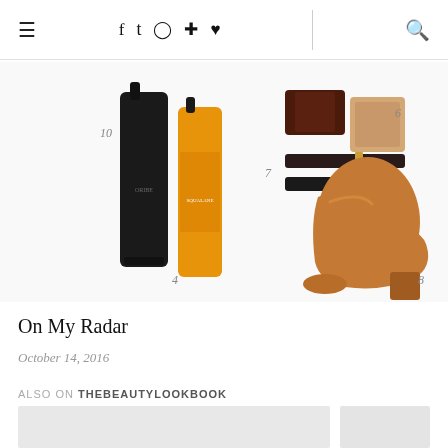Navigation bar with hamburger menu, social icons (Facebook, Twitter, Instagram, Pinterest, Heart), and search icon
[Figure (photo): Product flatlay image showing numbered beauty and fashion items: hair products (black bottle, orange bottle), makeup items (foundation, mascara, lip products), and a tan leather ankle boot. Items appear numbered 4, 6, 7, 8, 10.]
On My Radar
October 14, 2016
ALSO ON THEBEAUTYLOOKBOOK
[Figure (screenshot): Two partially visible thumbnail cards for related blog posts]